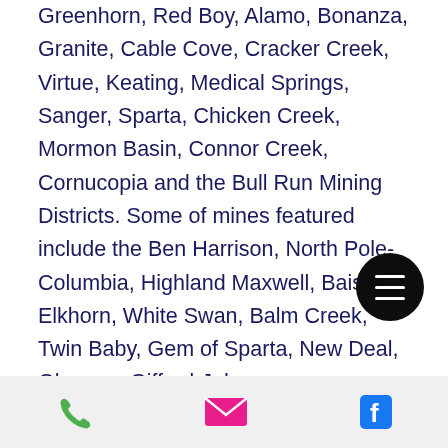Greenhorn, Red Boy, Alamo, Bonanza, Granite, Cable Cove, Cracker Creek, Virtue, Keating, Medical Springs, Sanger, Sparta, Chicken Creek, Mormon Basin, Connor Creek, Cornucopia and the Bull Run Mining Districts. Some of mines featured include the Ben Harrison, North Pole-Columbia, Highland Maxwell, Baisley-Elkhorn, White Swan, Balm Creek, Twin Baby, Gem of Sparta, New Deal, Gleason, Gifford-Johnson, Cornucopia, Record, Bull Run, Orion and others. Of particular interest are the mill flow sheets and descriptions of milling operations of these mines. Note: This
[phone] [email] [facebook]